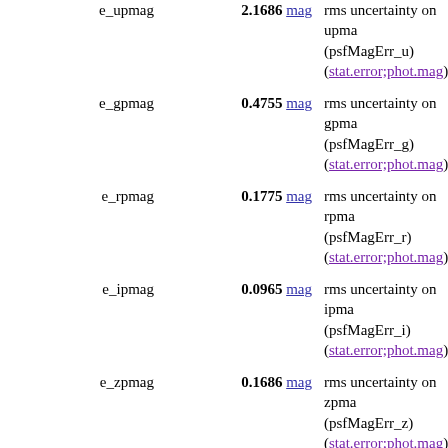| Name | Value | Description |
| --- | --- | --- |
| e_upmag | 2.1686 mag | rms uncertainty on upma (psfMagErr_u) (stat.error;phot.mag) |
| e_gpmag | 0.4755 mag | rms uncertainty on gpma (psfMagErr_g) (stat.error;phot.mag) |
| e_rpmag | 0.1775 mag | rms uncertainty on rpma (psfMagErr_r) (stat.error;phot.mag) |
| e_ipmag | 0.0965 mag | rms uncertainty on ipma (psfMagErr_i) (stat.error;phot.mag) |
| e_zpmag | 0.1686 mag | rms uncertainty on zpma (psfMagErr_z) (stat.error;phot.mag) |
| ufmag | 28.3421 mag | Fiber u magnitude, AB s (fiberMag_u) (phot.mag;em.opt.U) |
| gfmag | 26.4827 mag | Fiber g magnitude, AB s (fiberMag_g) (phot.mag;em.opt.B) |
| rfmag | 24.8457 mag | Fiber r magnitude, AB s (fiberMag_r) (phot.mag;em.opt.R) |